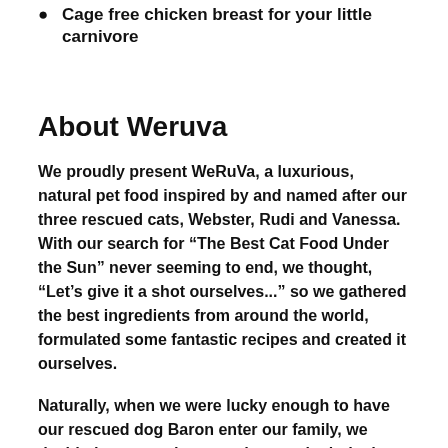Cage free chicken breast for your little carnivore
About Weruva
We proudly present WeRuVa, a luxurious, natural pet food inspired by and named after our three rescued cats, Webster, Rudi and Vanessa. With our search for “The Best Cat Food Under the Sun” never seeming to end, we thought, “Let’s give it a shot ourselves...” so we gathered the best ingredients from around the world, formulated some fantastic recipes and created it ourselves.
Naturally, when we were lucky enough to have our rescued dog Baron enter our family, we decided to expand our products to include dog food.
Our formulas are produced in a human food facility using many of the ingredients and processes that are used in products made for people. Our base proteins of chicken, beef and fish include only top quality muscle meat...